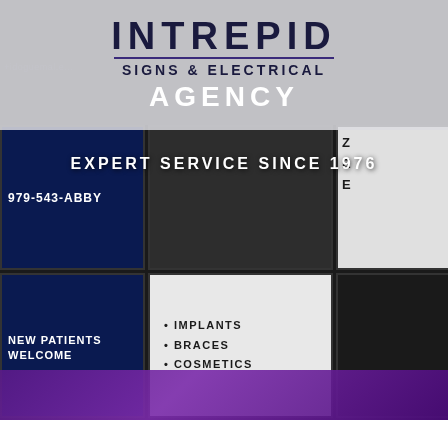[Figure (photo): Intrepid Signs & Electrical Agency website screenshot showing company logo at top over a semi-transparent gray header, with a dark background photo of a dental office signage display showing panels with phone number 979-543-ABBY, NEW PATIENTS WELCOME, IMPLANTS BRACES COSMETICS, a smiling patient face, and other panels. A purple gradient bar appears at the bottom. Text overlay reads EXPERT SERVICE SINCE 1976.]
INTREPID
SIGNS & ELECTRICAL
AGENCY
EXPERT SERVICE SINCE 1976